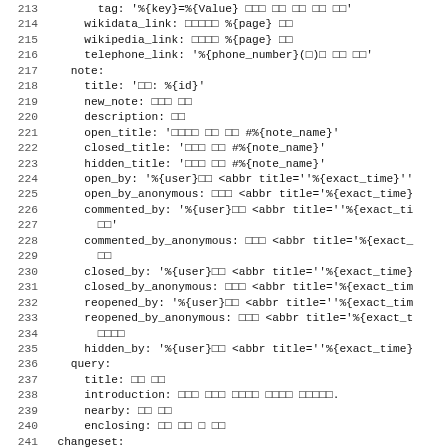Code listing lines 213-244 showing YAML/config content with localization keys for wikidata_link, wikipedia_link, telephone_link, note section, query section, and changeset section